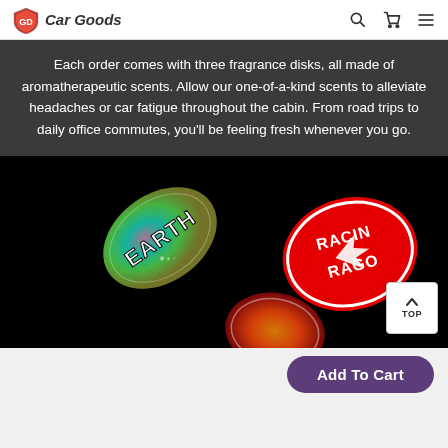Car Goods
Each order comes with three fragrance disks, all made of aromatherapeutic scents. Allow our one-of-a-kind scents to alleviate headaches or car fatigue throughout the cabin. From road trips to daily office commutes, you'll be feeling fresh whenever you go.
[Figure (photo): Three fragrance disks floating against black background: one labeled EARTH with holographic/rainbow finish, one red disk partially visible labeled RACING DRAGON, and one third disk at bottom partially visible with colorful design. A white 'TOP' button with caret is overlaid in bottom right.]
Add To Cart